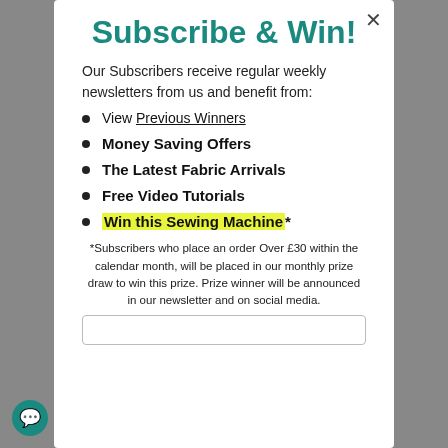Subscribe & Win!
Our Subscribers receive regular weekly newsletters from us and benefit from:
View Previous Winners
Money Saving Offers
The Latest Fabric Arrivals
Free Video Tutorials
Win this Sewing Machine*
*Subscribers who place an order Over £30 within the calendar month, will be placed in our monthly prize draw to win this prize. Prize winner will be announced in our newsletter and on social media.